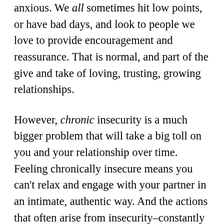anxious. We all sometimes hit low points, or have bad days, and look to people we love to provide encouragement and reassurance. That is normal, and part of the give and take of loving, trusting, growing relationships.
However, chronic insecurity is a much bigger problem that will take a big toll on you and your relationship over time. Feeling chronically insecure means you can't relax and engage with your partner in an intimate, authentic way. And the actions that often arise from insecurity–constantly asking for reassurance, often feeling jealous, making accusations or demands, checking up on people–erode trust and make you look needy and less attractive.